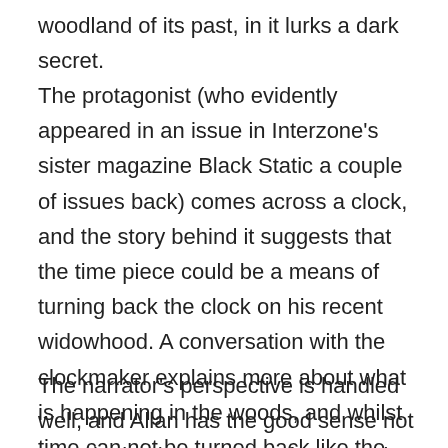woodland of its past, in it lurks a dark secret.
The protagonist (who evidently appeared in an issue in Interzone's sister magazine Black Static a couple of issues back) comes across a clock, and the story behind it suggests that the time piece could be a means of turning back the clock on his recent widowhood. A conversation with the clockmaker explains more about what is happening in the woods, and whilst time can not be turned back like the hands on a clock, it is more malleable than might appear, as he finds out.
The narrator's perspective is handled well, and Allan has the good sense not to make it a happy-ever-after story, in a story that has an intriguing setting and leaves the reader wondering about